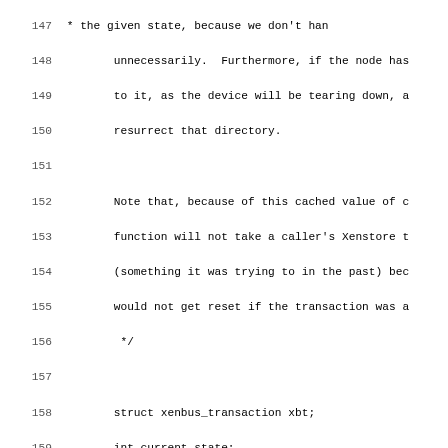Source code listing lines 147-179, showing C code for a xenbus transaction function with comments about cached state values and transaction handling.